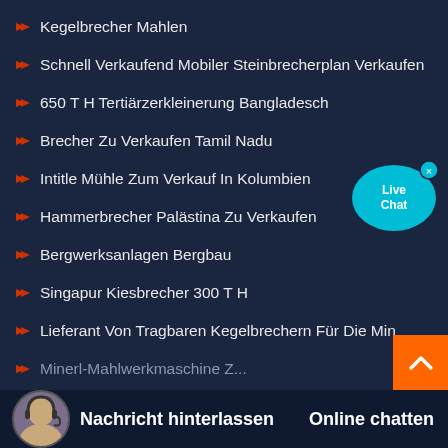Kegelbrecher Mahlen
Schnell Verkaufend Mobiler Steinbrecherplan Verkaufen
650 T H Tertiärzerkleinerung Bangladesch
Brecher Zu Verkaufen Tamil Nadu
Intitle Mühle Zum Verkauf In Kolumbien
Hammerbrecher Palästina Zu Verkaufen
Bergwerksanlagen Bergbau
Singapur Kiesbrecher 300 T H
Lieferant Von Tragbaren Kegelbrechern Für Die Mineralaufbe
Minerl-Mahlwerkmaschine Z...
[Figure (illustration): Live Chat bubble icon in cyan/blue color with 'Live Chat' text and a small X close button]
[Figure (illustration): Orange scroll-to-top button with upward chevron arrow]
Nachricht hinterlassen
Online chatten